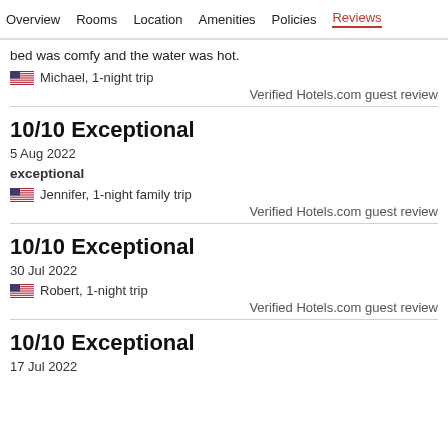Overview  Rooms  Location  Amenities  Policies  Reviews
bed was comfy and the water was hot.
Michael, 1-night trip
Verified Hotels.com guest review
10/10 Exceptional
5 Aug 2022
exceptional
Jennifer, 1-night family trip
Verified Hotels.com guest review
10/10 Exceptional
30 Jul 2022
Robert, 1-night trip
Verified Hotels.com guest review
10/10 Exceptional
17 Jul 2022